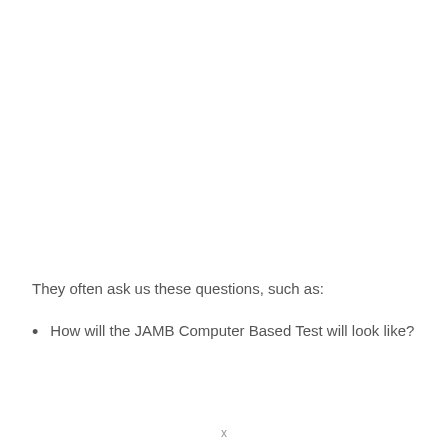They often ask us these questions, such as:
How will the JAMB Computer Based Test will look like?
x